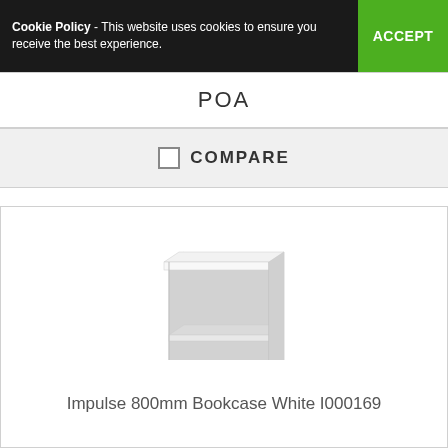Cookie Policy - This website uses cookies to ensure you receive the best experience. ACCEPT
POA
COMPARE
[Figure (photo): White two-shelf open bookcase unit with light grey interior, photographed on white background]
Impulse 800mm Bookcase White I000169